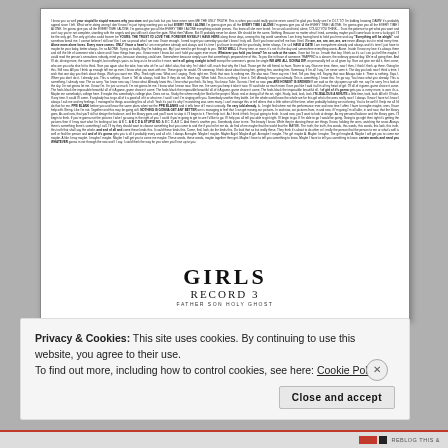[Figure (illustration): Album artwork for Girls Record 3 - Father Son Holy Ghost. Dense columns of small text fill most of the white card. At the bottom center is the album title 'GIRLS RECORD 3' and subtitle 'FATHER SON HOLY GHOST' in serif type.]
Privacy & Cookies: This site uses cookies. By continuing to use this website, you agree to their use.
To find out more, including how to control cookies, see here: Cookie Policy
Close and accept